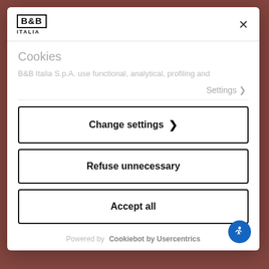[Figure (logo): B&B Italia logo in bold black text with border]
Cookies
B&B Italia S.p.A. use functional, analytical, profiling and
Settings ›
Change settings ›
Refuse unnecessary
Accept all
Powered by Cookiebot by Usercentrics